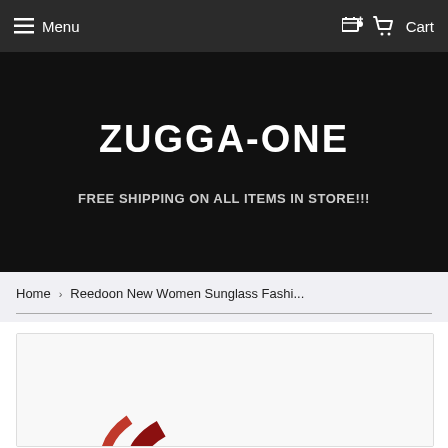Menu  Cart
ZUGGA-ONE
FREE SHIPPING ON ALL ITEMS IN STORE!!!
Home › Reedoon New Women Sunglass Fashi...
[Figure (photo): Partial product image of red women's sunglasses, cropped at the bottom of the frame]